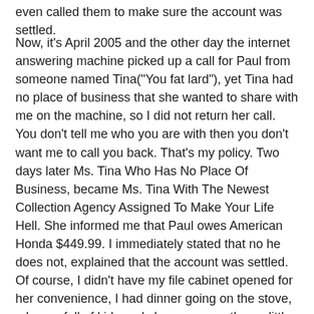even called them to make sure the account was settled.
Now, it's April 2005 and the other day the internet answering machine picked up a call for Paul from someone named Tina("You fat lard"), yet Tina had no place of business that she wanted to share with me on the machine, so I did not return her call. You don't tell me who you are with then you don't want me to call you back. That's my policy. Two days later Ms. Tina Who Has No Place Of Business, became Ms. Tina With The Newest Collection Agency Assigned To Make Your Life Hell. She informed me that Paul owes American Honda $449.99. I immediately stated that no he does not, explained that the account was settled. Of course, I didn't have my file cabinet opened for her convenience, I had dinner going on the stove, a house full of kids and she was more than a little put out when I couldn't tell her the exact amount of money we settled the account with. I told her she could call me back in 30 minutes and I'd have any information she needed, but she obviously had someone else to harass and couldn't get back with me, but kindly offered to put this new information in my file. How sweet of her! She's precious, that Ms. Tina etc etc.